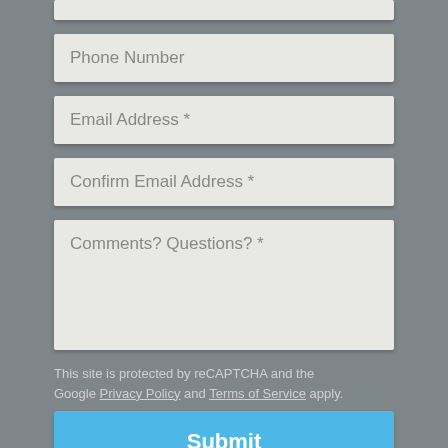Phone Number
Email Address *
Confirm Email Address *
Comments? Questions? *
This site is protected by reCAPTCHA and the Google Privacy Policy and Terms of Service apply.
Submit